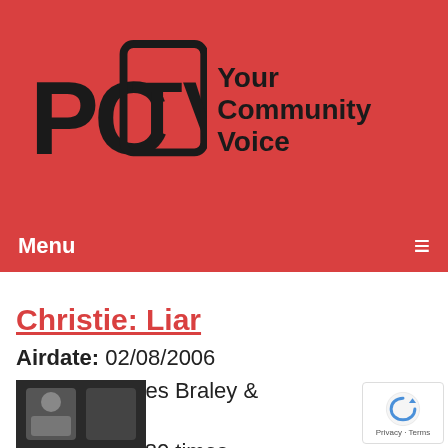[Figure (logo): PCTV logo with stylized PC and TV letters in dark on red background, tagline 'Your Community Voice']
Menu ≡
Christie: Liar
Airdate: 02/08/2006
Guests: James Braley & Andy Christie
Watched: 1680 times
[Figure (photo): Thumbnail photo of a person at the bottom of the page]